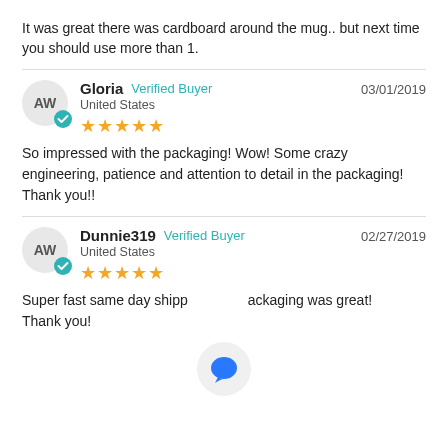It was great there was cardboard around the mug.. but next time you should use more than 1.
Gloria  Verified Buyer  03/01/2019  United States  ★★★★★
So impressed with the packaging! Wow! Some crazy engineering, patience and attention to detail in the packaging! Thank you!!
Dunnie319  Verified Buyer  02/27/2019  United States  ★★★★★
Super fast same day shipp... packaging was great! Thank you!